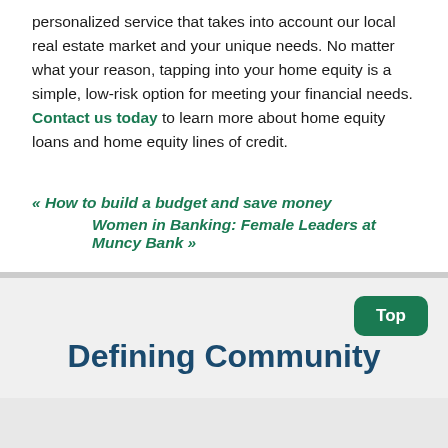personalized service that takes into account our local real estate market and your unique needs. No matter what your reason, tapping into your home equity is a simple, low-risk option for meeting your financial needs. Contact us today to learn more about home equity loans and home equity lines of credit.
« How to build a budget and save money
Women in Banking: Female Leaders at Muncy Bank »
Top
Defining Community